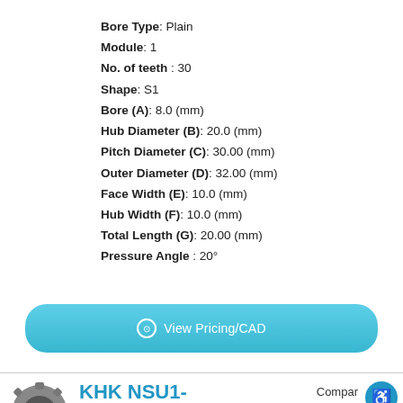Bore Type: Plain
Module: 1
No. of teeth : 30
Shape: S1
Bore (A): 8.0 (mm)
Hub Diameter (B): 20.0 (mm)
Pitch Diameter (C): 30.00 (mm)
Outer Diameter (D): 32.00 (mm)
Face Width (E): 10.0 (mm)
Hub Width (F): 10.0 (mm)
Total Length (G): 20.00 (mm)
Pressure Angle : 20°
View Pricing/CAD
KHK NSU1-